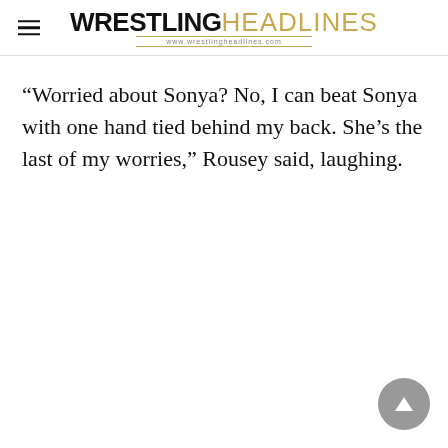WRESTLING HEADLINES www.wrestlingheadlines.com
“Worried about Sonya? No, I can beat Sonya with one hand tied behind my back. She’s the last of my worries,” Rousey said, laughing.